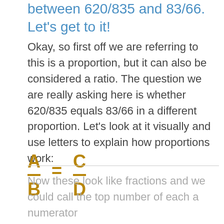between 620/835 and 83/66. Let's get to it!
Okay, so first off we are referring to this is a proportion, but it can also be considered a ratio. The question we are really asking here is whether 620/835 equals 83/66 in a different proportion. Let's look at it visually and use letters to explain how proportions work:
Now these look like fractions and we could call the top number of each a numerator